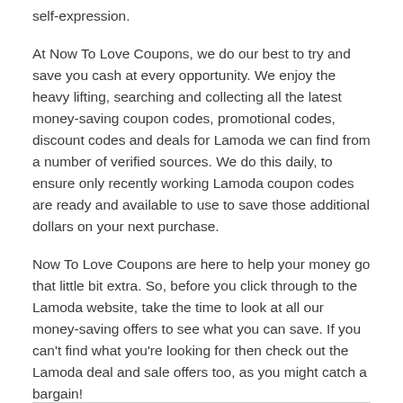self-expression.
At Now To Love Coupons, we do our best to try and save you cash at every opportunity. We enjoy the heavy lifting, searching and collecting all the latest money-saving coupon codes, promotional codes, discount codes and deals for Lamoda we can find from a number of verified sources. We do this daily, to ensure only recently working Lamoda coupon codes are ready and available to use to save those additional dollars on your next purchase.
Now To Love Coupons are here to help your money go that little bit extra. So, before you click through to the Lamoda website, take the time to look at all our money-saving offers to see what you can save. If you can't find what you're looking for then check out the Lamoda deal and sale offers too, as you might catch a bargain!